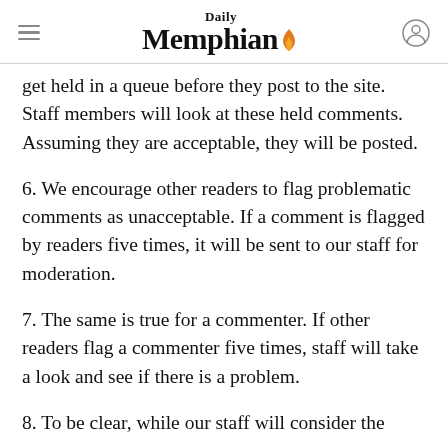Daily Memphian
get held in a queue before they post to the site. Staff members will look at these held comments. Assuming they are acceptable, they will be posted.
6. We encourage other readers to flag problematic comments as unacceptable. If a comment is flagged by readers five times, it will be sent to our staff for moderation.
7. The same is true for a commenter. If other readers flag a commenter five times, staff will take a look and see if there is a problem.
8. To be clear, while our staff will consider the